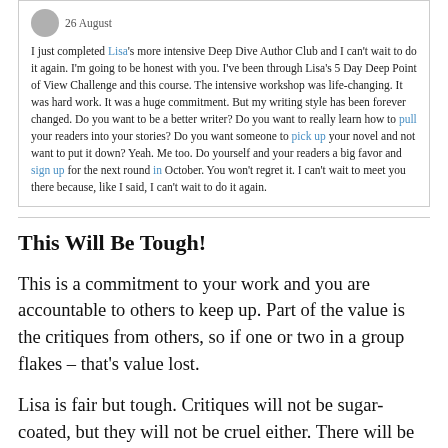26 August
I just completed Lisa's more intensive Deep Dive Author Club and I can't wait to do it again. I'm going to be honest with you. I've been through Lisa's 5 Day Deep Point of View Challenge and this course. The intensive workshop was life-changing. It was hard work. It was a huge commitment. But my writing style has been forever changed. Do you want to be a better writer? Do you want to really learn how to pull your readers into your stories? Do you want someone to pick up your novel and not want to put it down? Yeah. Me too. Do yourself and your readers a big favor and sign up for the next round in October. You won't regret it. I can't wait to meet you there because, like I said, I can't wait to do it again.
This Will Be Tough!
This is a commitment to your work and you are accountable to others to keep up. Part of the value is the critiques from others, so if one or two in a group flakes – that's value lost.
Lisa is fair but tough. Critiques will not be sugar-coated, but they will not be cruel either. There will be no empty pats-on-the-back so if you receive a